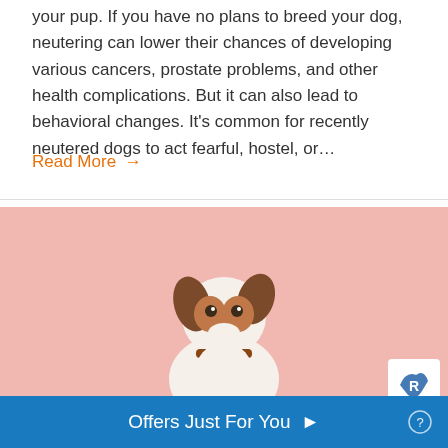your pup. If you have no plans to breed your dog, neutering can lower their chances of developing various cancers, prostate problems, and other health complications. But it can also lead to behavioral changes. It's common for recently neutered dogs to act fearful, hostel, or…
Read More →
[Figure (photo): A Jack Russell Terrier dog sitting against a pink/salmon background, wearing a brown collar, looking at camera. White and brown coloring.]
Offers Just For You ▶